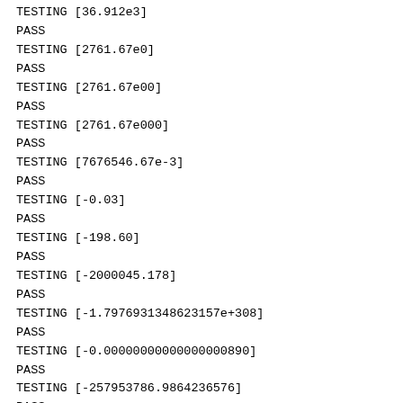TESTING [36.912e3]
PASS
TESTING [2761.67e0]
PASS
TESTING [2761.67e00]
PASS
TESTING [2761.67e000]
PASS
TESTING [7676546.67e-3]
PASS
TESTING [-0.03]
PASS
TESTING [-198.60]
PASS
TESTING [-2000045.178]
PASS
TESTING [-1.7976931348623157e+308]
PASS
TESTING [-0.00000000000000000890]
PASS
TESTING [-257953786.9864236576]
PASS
TESTING [-257953786.9864236576e8]
PASS
TESTING [-36.912e3]
PASS
TESTING [-2761.67e0]
PASS
TESTING [-2761.67e00]
PASS